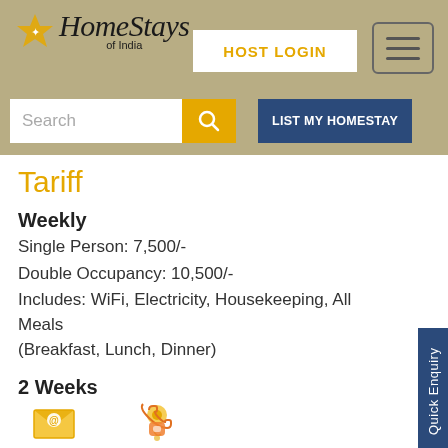HomeStays of India — HOST LOGIN — LIST MY HOMESTAY
Tariff
Weekly
Single Person: 7,500/-
Double Occupancy: 10,500/-
Includes: WiFi, Electricity, Housekeeping, All Meals (Breakfast, Lunch, Dinner)
2 Weeks
Single Person: 13,500/-
Double Occupancy: 18,900/-
Includes: WiFi, Electricity, Housekeeping, All Meals